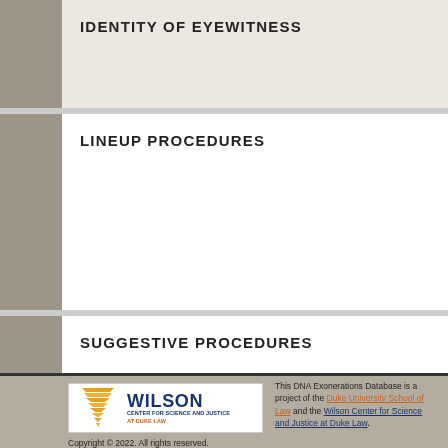IDENTITY OF EYEWITNESS
LINEUP PROCEDURES
SUGGESTIVE PROCEDURES
[Figure (logo): Wilson Center for Science and Justice at Duke Law logo]
Copyright © 2022. All rights reserved. Designed by Convoy
This DNA Exonerations Database is a project of the Duke University School of Law and the Wilson Center for Science and Justice at Duke Law.